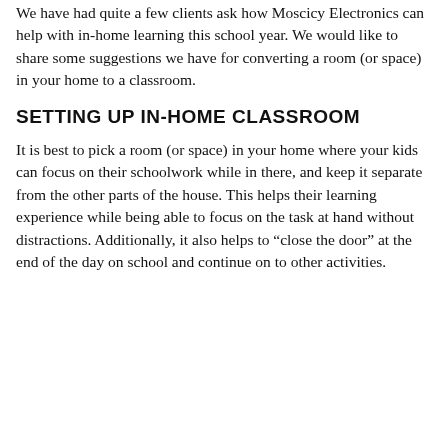We have had quite a few clients ask how Moscicy Electronics can help with in-home learning this school year. We would like to share some suggestions we have for converting a room (or space) in your home to a classroom.
SETTING UP IN-HOME CLASSROOM
It is best to pick a room (or space) in your home where your kids can focus on their schoolwork while in there, and keep it separate from the other parts of the house. This helps their learning experience while being able to focus on the task at hand without distractions. Additionally, it also helps to “close the door” at the end of the day on school and continue on to other activities.